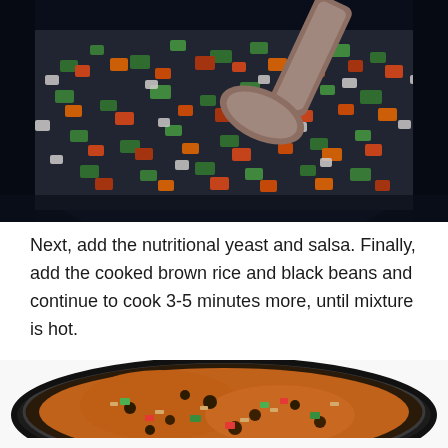[Figure (photo): A dark skillet or wok with sautéed diced vegetables including orange carrots, green bell peppers, red peppers, and white onions, being stirred with a wooden spoon.]
Next, add the nutritional yeast and salsa. Finally, add the cooked brown rice and black beans and continue to cook 3-5 minutes more, until mixture is hot.
[Figure (photo): A cast iron skillet viewed from above containing cooked brown rice mixed with black beans, salsa, and vegetables, showing a reddish-orange mixture.]